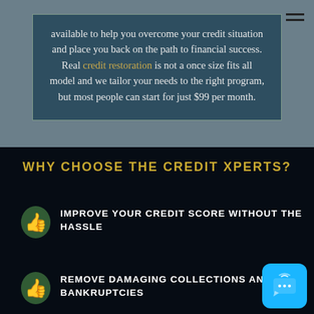[Figure (screenshot): Hamburger menu icon (three horizontal lines) in top right corner]
available to help you overcome your credit situation and place you back on the path to financial success. Real credit restoration is not a once size fits all model and we tailor your needs to the right program, but most people can start for just $99 per month.
WHY CHOOSE THE CREDIT XPERTS?
IMPROVE YOUR CREDIT SCORE WITHOUT THE HASSLE
REMOVE DAMAGING COLLECTIONS AND BANKRUPTCIES